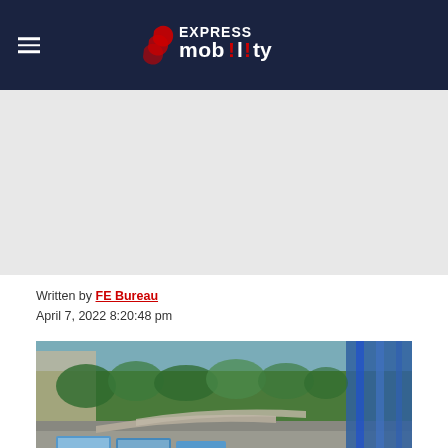Express Mobility
[Figure (photo): Advertisement placeholder area with light gray background]
Written by FE Bureau
April 7, 2022 8:20:48 pm
[Figure (photo): Aerial view of a bus rapid transit (BRT) station with multiple buses, elevated walkways, green trees, and a blue steel structure on the right side]